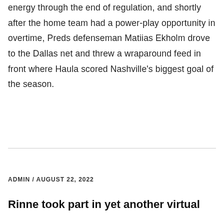energy through the end of regulation, and shortly after the home team had a power-play opportunity in overtime, Preds defenseman Matiias Ekholm drove to the Dallas net and threw a wraparound feed in front where Haula scored Nashville's biggest goal of the season.
ADMIN / AUGUST 22, 2022
Rinne took part in yet another virtual